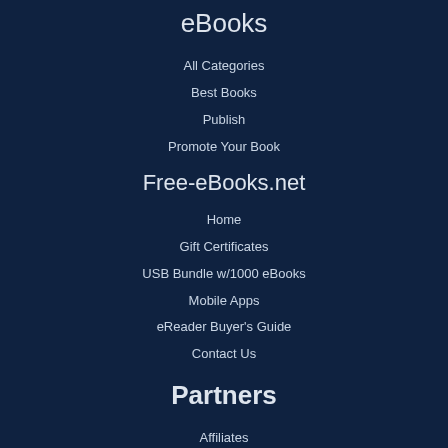eBooks
All Categories
Best Books
Publish
Promote Your Book
Free-eBooks.net
Home
Gift Certificates
USB Bundle w/1000 eBooks
Mobile Apps
eReader Buyer's Guide
Contact Us
Partners
Affiliates